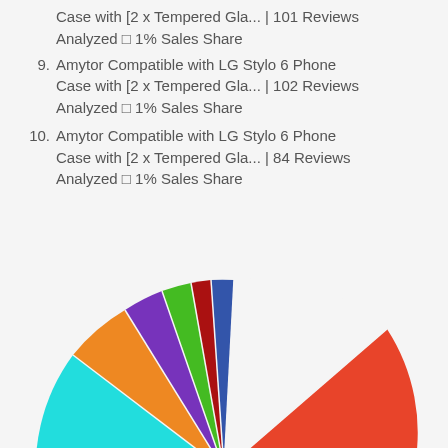Amytor Compatible with LG Stylo 6 Phone Case with [2 x Tempered Gla... | 101 Reviews Analyzed □ 1% Sales Share
9. Amytor Compatible with LG Stylo 6 Phone Case with [2 x Tempered Gla... | 102 Reviews Analyzed □ 1% Sales Share
10. Amytor Compatible with LG Stylo 6 Phone Case with [2 x Tempered Gla... | 84 Reviews Analyzed □ 1% Sales Share
[Figure (pie-chart): Pie chart showing sales share distribution across multiple products, with slices in red/orange, blue, magenta/pink, cyan, orange, purple, green, and dark red colors. The chart is partially cropped at the bottom.]